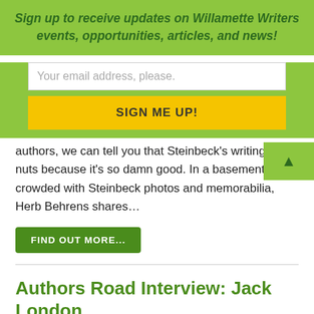Sign up to receive updates on Willamette Writers events, opportunities, articles, and news!
Your email address, please.
SIGN ME UP!
authors, we can tell you that Steinbeck’s writing drive nuts because it’s so damn good. In a basement office crowded with Steinbeck photos and memorabilia, Herb Behrens shares…
FIND OUT MORE…
Authors Road Interview: Jack London
Let us re-introduce you to a dynamic writer, listed by